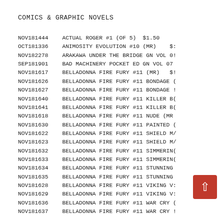COMICS & GRAPHIC NOVELS
| Code | Description |
| --- | --- |
| NOV181444 | ACTUAL ROGER #1 (OF 5)  $1.50 |
| OCT181336 | ANIMOSITY EVOLUTION #10 (MR)    $: |
| NOV182278 | ARAKAWA UNDER THE BRIDGE GN VOL 0! |
| SEP181901 | BAD MACHINERY POCKET ED GN VOL 07 |
| NOV181617 | BELLADONNA FIRE FURY #11 (MR)   $! |
| NOV181626 | BELLADONNA FIRE FURY #11 BONDAGE ( |
| NOV181627 | BELLADONNA FIRE FURY #11 BONDAGE ! |
| NOV181640 | BELLADONNA FIRE FURY #11 KILLER B( |
| NOV181641 | BELLADONNA FIRE FURY #11 KILLER B( |
| NOV181618 | BELLADONNA FIRE FURY #11 NUDE (MR |
| NOV181630 | BELLADONNA FIRE FURY #11 PAINTED ( |
| NOV181622 | BELLADONNA FIRE FURY #11 SHIELD M/ |
| NOV181623 | BELLADONNA FIRE FURY #11 SHIELD M/ |
| NOV181632 | BELLADONNA FIRE FURY #11 SIMMERIN( |
| NOV181633 | BELLADONNA FIRE FURY #11 SIMMERIN( |
| NOV181634 | BELLADONNA FIRE FURY #11 STUNNING |
| NOV181635 | BELLADONNA FIRE FURY #11 STUNNING |
| NOV181628 | BELLADONNA FIRE FURY #11 VIKING V: |
| NOV181629 | BELLADONNA FIRE FURY #11 VIKING V: |
| NOV181636 | BELLADONNA FIRE FURY #11 WAR CRY ( |
| NOV181637 | BELLADONNA FIRE FURY #11 WAR CRY ! |